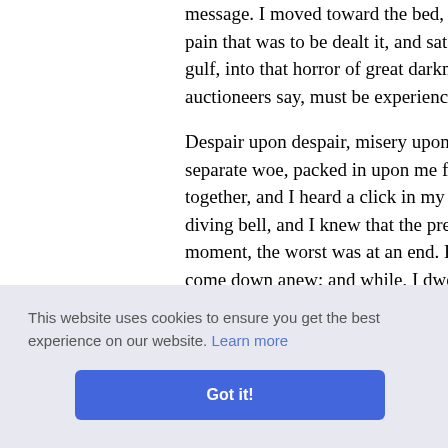message. I moved toward the bed, ever pain that was to be dealt it, and sat dow gulf, into that horror of great darkne auctioneers say, must be experienced to
Despair upon despair, misery upon m separate woe, packed in upon me for a together, and I heard a click in my br diving bell, and I knew that the pressu moment, the worst was at an end. But come down anew; and while, I dwelt o tooth with his tongue, it ebbed away coming, and once more I heard my br quarter for help, release or diversion.
reappear rs. M'Le ss at the ; the wh ny shoul
This website uses cookies to ensure you get the best experience on our website. Learn more
Got it!